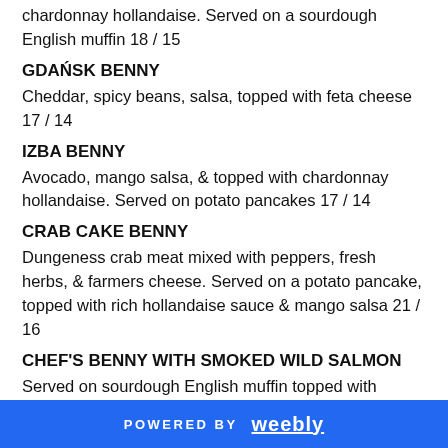chardonnay hollandaise. Served on a sourdough English muffin 18 / 15
GDAŃSK BENNY
Cheddar, spicy beans, salsa, topped with feta cheese 17 / 14
IZBA BENNY
Avocado, mango salsa, & topped with chardonnay hollandaise. Served on potato pancakes 17 / 14
CRAB CAKE BENNY
Dungeness crab meat mixed with peppers, fresh herbs, & farmers cheese. Served on a potato pancake, topped with rich hollandaise sauce & mango salsa 21 / 16
CHEF'S BENNY WITH SMOKED WILD SALMON
Served on sourdough English muffin topped with melted edam cheese, red onion, capers, chardonnay hollandaise
POWERED BY weebly